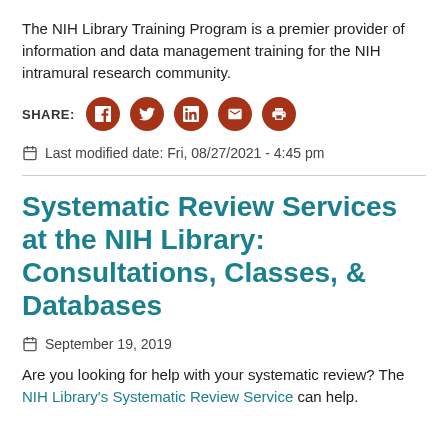The NIH Library Training Program is a premier provider of information and data management training for the NIH intramural research community.
SHARE: [Facebook] [Twitter] [LinkedIn] [Email] [Print]
Last modified date: Fri, 08/27/2021 - 4:45 pm
Systematic Review Services at the NIH Library: Consultations, Classes, & Databases
September 19, 2019
Are you looking for help with your systematic review? The NIH Library's Systematic Review Service can help.